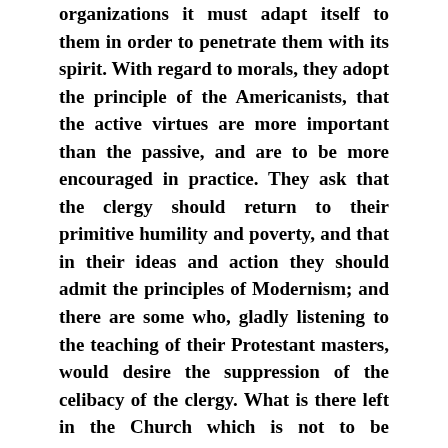organizations it must adapt itself to them in order to penetrate them with its spirit. With regard to morals, they adopt the principle of the Americanists, that the active virtues are more important than the passive, and are to be more encouraged in practice. They ask that the clergy should return to their primitive humility and poverty, and that in their ideas and action they should admit the principles of Modernism; and there are some who, gladly listening to the teaching of their Protestant masters, would desire the suppression of the celibacy of the clergy. What is there left in the Church which is not to be reformed